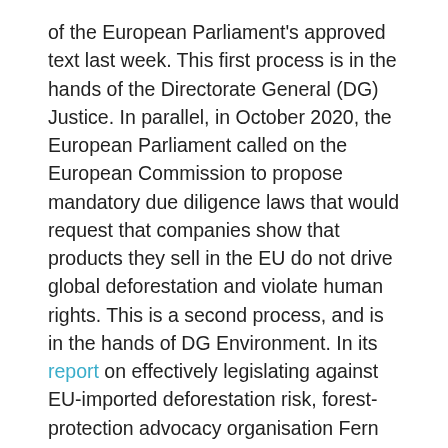of the European Parliament's approved text last week. This first process is in the hands of the Directorate General (DG) Justice. In parallel, in October 2020, the European Parliament called on the European Commission to propose mandatory due diligence laws that would request that companies show that products they sell in the EU do not drive global deforestation and violate human rights. This is a second process, and is in the hands of DG Environment. In its report on effectively legislating against EU-imported deforestation risk, forest-protection advocacy organisation Fern discusses distinct definitions of due diligence and recommends approaches to build better enforcement into the proposed EU due diligence legislation for forest risk commodities, as well as the broader due diligence legislation.
With these developments in mind (and with insights from Fern's webinar earlier this week on due diligence-